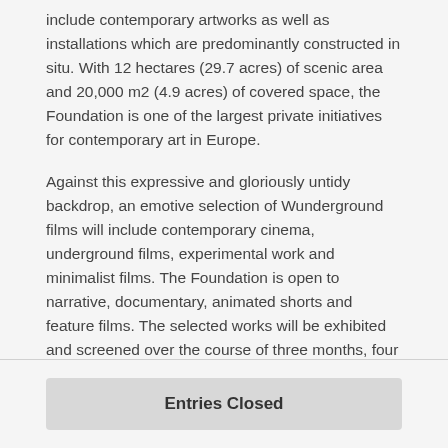include contemporary artworks as well as installations which are predominantly constructed in situ. With 12 hectares (29.7 acres) of scenic area and 20,000 m2 (4.9 acres) of covered space, the Foundation is one of the largest private initiatives for contemporary art in Europe.
Against this expressive and gloriously untidy backdrop, an emotive selection of Wunderground films will include contemporary cinema, underground films, experimental work and minimalist films. The Foundation is open to narrative, documentary, animated shorts and feature films. The selected works will be exhibited and screened over the course of three months, four days a week, in a loop.
We invite you to experience the Wunderground Film Festival for yourself.
Entries Closed